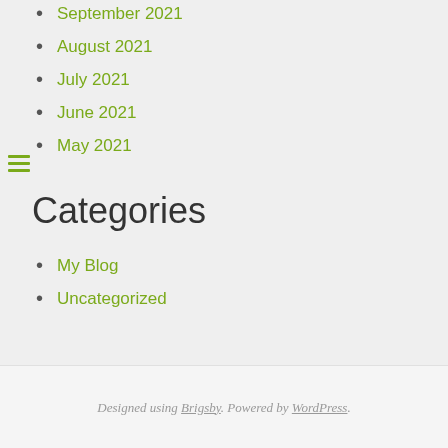September 2021
August 2021
July 2021
June 2021
May 2021
Categories
My Blog
Uncategorized
Designed using Brigsby. Powered by WordPress.